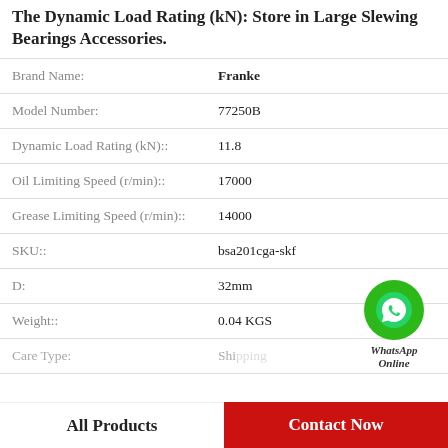The Dynamic Load Rating (kN): Store in Large Slewing Bearings Accessories.
| Property | Value |
| --- | --- |
| Brand Name: | Franke |
| Model Number: | 77250B |
| Dynamic Load Rating (kN):: | 11.8 |
| Oil Limiting Speed (r/min):: | 17000 |
| Grease Limiting Speed (r/min):: | 14000 |
| SKU:: | bsa201cga-skf |
| D: | 32mm |
| Weight:: | 0.04 KGS |
| Care Type: | Shipping |
[Figure (logo): WhatsApp Online green bubble icon with phone handset]
All Products   Contact Now